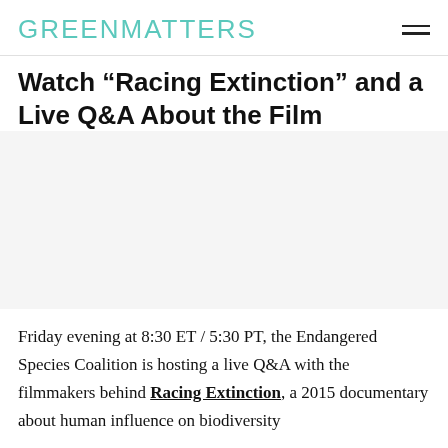GREENMATTERS
Watch “Racing Extinction” and a Live Q&A About the Film
[Figure (photo): Placeholder image area for the article]
Friday evening at 8:30 ET / 5:30 PT, the Endangered Species Coalition is hosting a live Q&A with the filmmakers behind Racing Extinction, a 2015 documentary about human influence on biodiversity